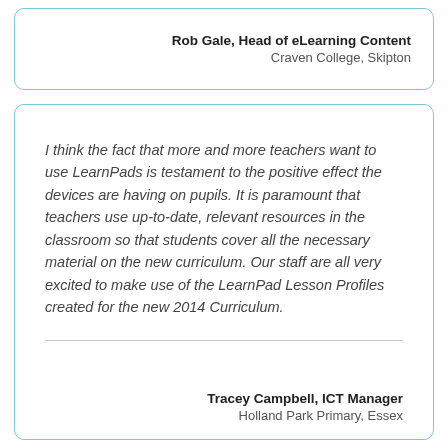Rob Gale, Head of eLearning Content
Craven College, Skipton
I think the fact that more and more teachers want to use LearnPads is testament to the positive effect the devices are having on pupils. It is paramount that teachers use up-to-date, relevant resources in the classroom so that students cover all the necessary material on the new curriculum. Our staff are all very excited to make use of the LearnPad Lesson Profiles created for the new 2014 Curriculum.
Tracey Campbell, ICT Manager
Holland Park Primary, Essex